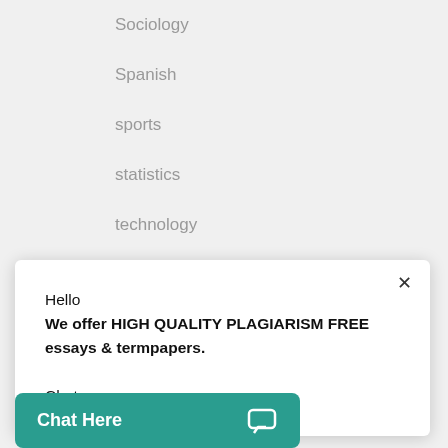Sociology
Spanish
sports
statistics
technology
the Standard Operation Procedures (SOP) were last updated 3 years ago
Hello
We offer HIGH QUALITY PLAGIARISM FREE essays & termpapers.

Chat…
Writing
Chat Here